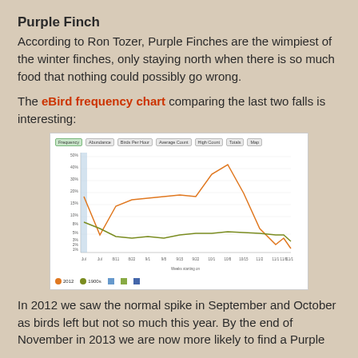Purple Finch
According to Ron Tozer, Purple Finches are the wimpiest of the winter finches, only staying north when there is so much food that nothing could possibly go wrong.
The eBird frequency chart comparing the last two falls is interesting:
[Figure (line-chart): Line chart comparing Purple Finch frequency for two years (2012 in orange, 1900s in olive/green) across weeks from summer through fall. The 2012 line shows a spike in September-October then drops. The comparison year line stays lower throughout.]
In 2012 we saw the normal spike in September and October as birds left but not so much this year. By the end of November in 2013 we are now more likely to find a Purple